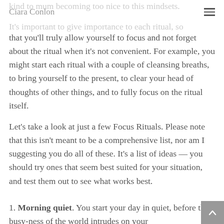Ciara Conlon
kind to mum becoming too nice to this mindsets.
It's important to give importance to each ritual, so that you'll truly allow yourself to focus and not forget about the ritual when it's not convenient. For example, you might start each ritual with a couple of cleansing breaths, to bring yourself to the present, to clear your head of thoughts of other things, and to fully focus on the ritual itself.
Let's take a look at just a few Focus Rituals. Please note that this isn't meant to be a comprehensive list, nor am I suggesting you do all of these. It's a list of ideas — you should try ones that seem best suited for your situation, and test them out to see what works best.
1. Morning quiet. You start your day in quiet, before the busy-ness of the world intrudes on your